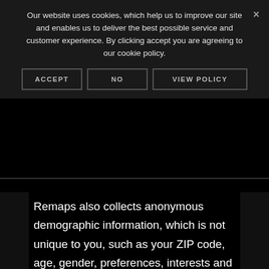Our website uses cookies, which help us to improve our site and enables us to deliver the best possible service and customer experience. By clicking accept you are agreeing to our cookie policy.
ACCEPT | NO | VIEW POLICY
Remaps also collects anonymous demographic information, which is not unique to you, such as your ZIP code, age, gender, preferences, interests and favorites.
There is also information about your computer hardware and software that is automatically collected by SCM Remaps. This information can include: